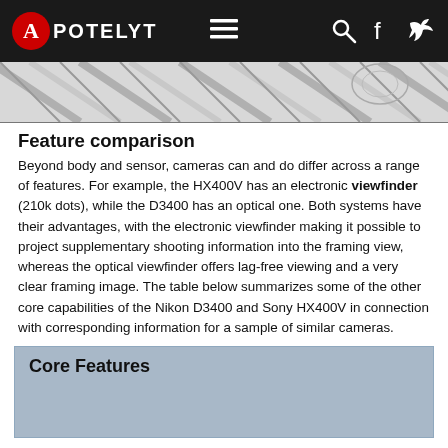APOTELYT
[Figure (photo): Camera photograph strip showing diagonal lines/pattern, partially visible camera image]
Feature comparison
Beyond body and sensor, cameras can and do differ across a range of features. For example, the HX400V has an electronic viewfinder (210k dots), while the D3400 has an optical one. Both systems have their advantages, with the electronic viewfinder making it possible to project supplementary shooting information into the framing view, whereas the optical viewfinder offers lag-free viewing and a very clear framing image. The table below summarizes some of the other core capabilities of the Nikon D3400 and Sony HX400V in connection with corresponding information for a sample of similar cameras.
| Core Features |
| --- |